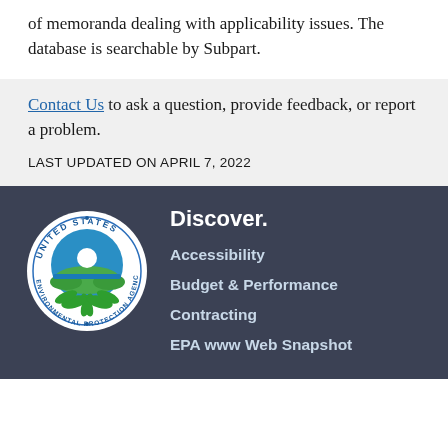of memoranda dealing with applicability issues. The database is searchable by Subpart.
Contact Us to ask a question, provide feedback, or report a problem.
LAST UPDATED ON APRIL 7, 2022
[Figure (logo): United States Environmental Protection Agency circular seal/logo with green plant and blue globe]
Discover.
Accessibility
Budget & Performance
Contracting
EPA www Web Snapshot